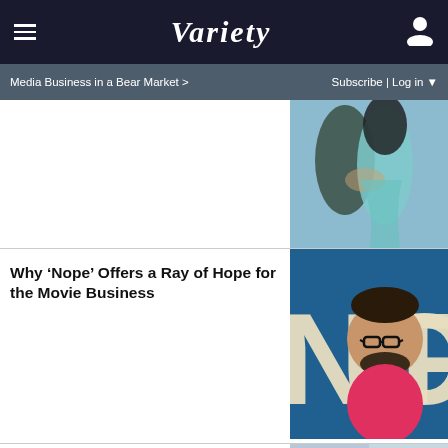VARIETY
Media Business in a Bear Market >
Subscribe | Log in
[Figure (photo): Partial image of two people embracing, one in a light blue/teal outfit]
Why ‘Nope’ Offers a Ray of Hope for the Movie Business
[Figure (photo): Man wearing glasses in front of NOPE movie poster on teal background]
Horatio Sanz Accuser Claims Jimmy Fallon, Lorne Michaels and Tracy Morgan Enabled Sex Assault
[Figure (photo): Two men side by side: Horatio Sanz and Jimmy Fallon]
[Figure (screenshot): Advertisement: 5-STAR CORDLESS DRILL ON SALE AT AMAZON with SPY logo]